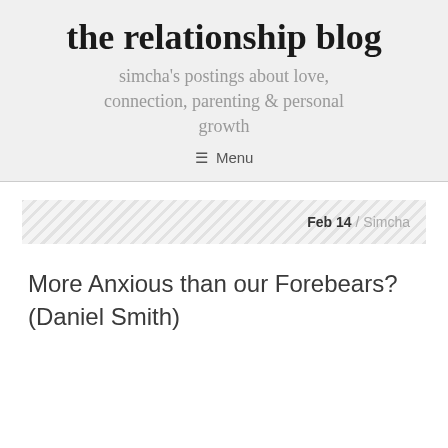the relationship blog
simcha's postings about love, connection, parenting & personal growth
≡ Menu
Feb 14 / Simcha
More Anxious than our Forebears? (Daniel Smith)